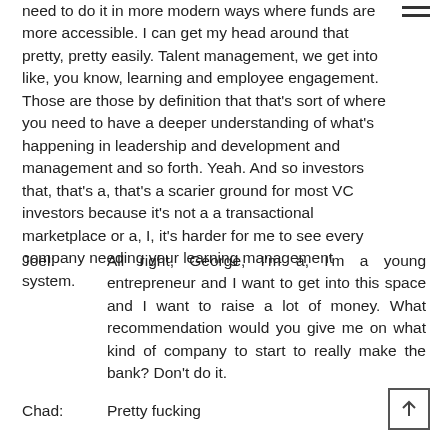need to do it in more modern ways where funds are more accessible. I can get my head around that pretty, pretty easily. Talent management, we get into like, you know, learning and employee engagement. Those are those by definition that that's sort of where you need to have a deeper understanding of what's happening in leadership and development and management and so forth. Yeah. And so investors that, that's a, that's a scarier ground for most VC investors because it's not a a transactional marketplace or a, I, it's harder for me to see every company needing your learning management system.
Joel:    All right, George, I'm a, I'm a young entrepreneur and I want to get into this space and I want to raise a lot of money. What recommendation would you give me on what kind of company to start to really make the bank? Don't do it.
Chad:    Pretty fucking